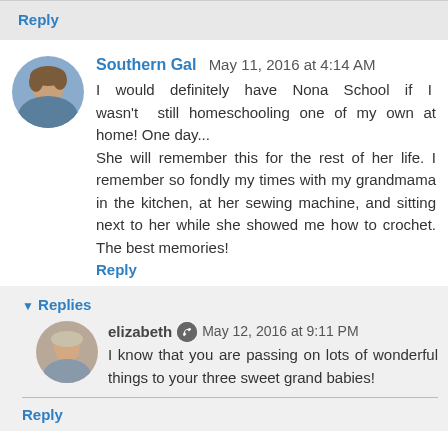Reply
Southern Gal  May 11, 2016 at 4:14 AM
I would definitely have Nona School if I wasn't still homeschooling one of my own at home! One day...
She will remember this for the rest of her life. I remember so fondly my times with my grandmama in the kitchen, at her sewing machine, and sitting next to her while she showed me how to crochet. The best memories!
Reply
Replies
elizabeth  May 12, 2016 at 9:11 PM
I know that you are passing on lots of wonderful things to your three sweet grand babies!
Reply